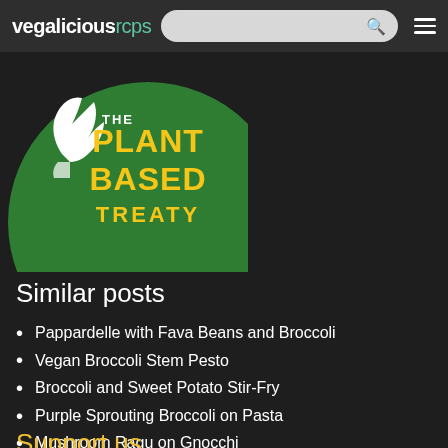vegaliciousrcps
[Figure (logo): The Plant Based Treaty logo — a green circle with a white leaf/hand icon and yellow lettering reading 'THE PLANT BASED TREATY']
Similar posts
Pappardelle with Fava Beans and Broccoli
Vegan Broccoli Stem Pesto
Broccoli and Sweet Potato Stir-Fry
Purple Sprouting Broccoli on Pasta
Mushroom Ragu on Gnocchi
Support us